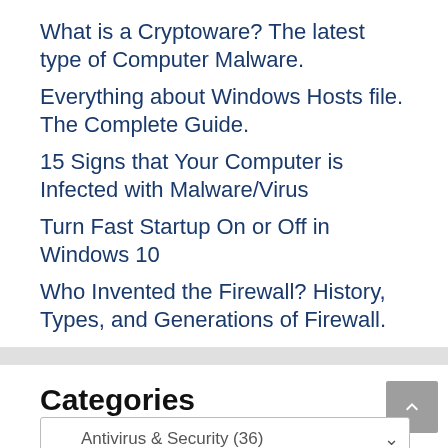What is a Cryptoware? The latest type of Computer Malware.
Everything about Windows Hosts file. The Complete Guide.
15 Signs that Your Computer is Infected with Malware/Virus
Turn Fast Startup On or Off in Windows 10
Who Invented the Firewall? History, Types, and Generations of Firewall.
Categories
Antivirus & Security  (36)